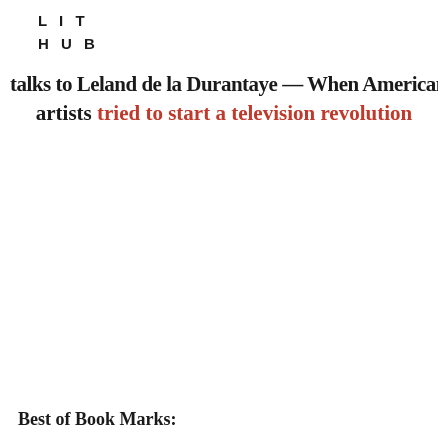LIT
HUB
talks to Leland de la Durantaye — When American artists tried to start a television revolution
Best of Book Marks: